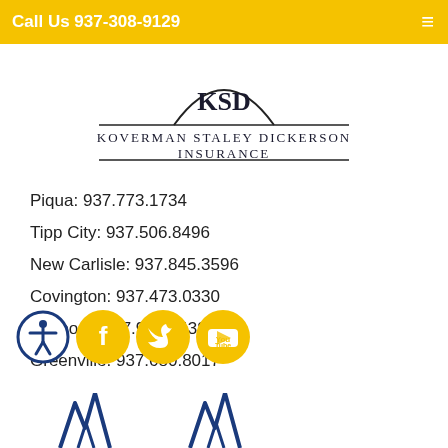Call Us 937-308-9129
[Figure (logo): KSD Koverman Staley Dickerson Insurance logo with semicircle arch and horizontal lines]
Piqua: 937.773.1734
Tipp City: 937.506.8496
New Carlisle: 937.845.3596
Covington: 937.473.0330
Fairborn: 937.952.8438
Greenville: 937.680.8017
[Figure (logo): Social media icons: accessibility, Facebook, Twitter, YouTube — gold and navy circles]